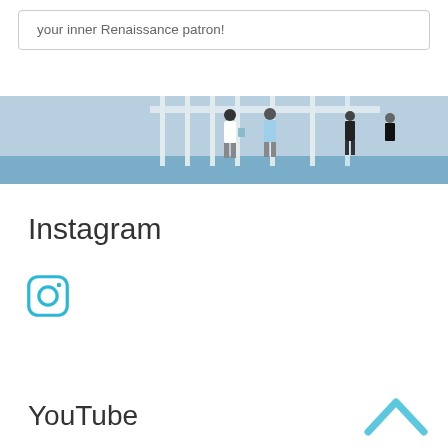your inner Renaissance patron!
[Figure (photo): People standing on a dock or pier, viewed from a distance, with white structural columns visible. Blue sky background.]
Instagram
[Figure (logo): Instagram logo icon — rounded square with circle and dot, in cyan/teal color]
[Figure (photo): Water surface with light reflections, calm sea in blue tones]
YouTube
[Figure (logo): YouTube play button icon — rounded rectangle with triangle, in cyan/teal color]
[Figure (other): Chevron/caret pointing upward in cyan/light blue color, top-right corner]